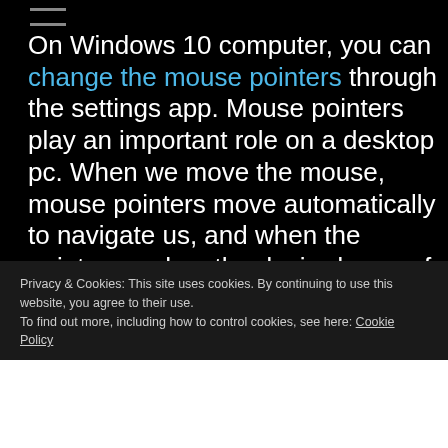On Windows 10 computer, you can change the mouse pointers through the settings app. Mouse pointers play an important role on a desktop pc. When we move the mouse, mouse pointers move automatically to navigate us, and when the pointer reaches the desired area of the desktop, we perform a mouse click to open the program or for any other task.
Privacy & Cookies: This site uses cookies. By continuing to use this website, you agree to their use.
To find out more, including how to control cookies, see here: Cookie Policy